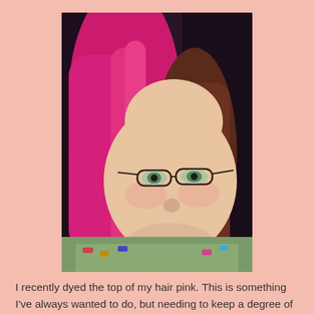[Figure (photo): A selfie photo of a woman with bright pink/magenta dyed hair on top, wearing dark-framed oval glasses and a colorful knit sweater. She is smiling slightly and has a nose piercing. The background is dark.]
I recently dyed the top of my hair pink. This is something I've always wanted to do, but needing to keep a degree of professionalism at work has stopped me. Now I'm self-